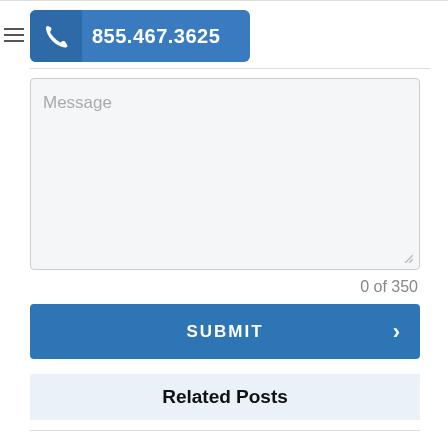855.467.3625
Message
0 of 350
SUBMIT
Related Posts
Sober Living: Recovery's Soft Landing
Alcohol is a Substance